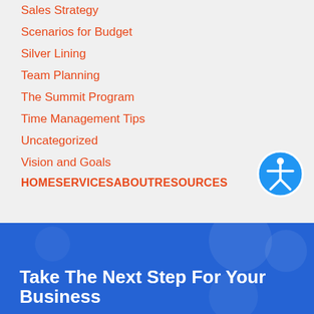Sales Strategy
Scenarios for Budget
Silver Lining
Team Planning
The Summit Program
Time Management Tips
Uncategorized
Vision and Goals
HOMESERVICESABOUTRESOURCES
Take The Next Step For Your Business